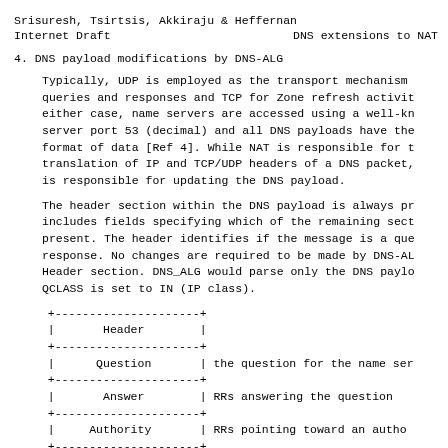Srisuresh, Tsirtsis, Akkiraju & Heffernan
Internet Draft                    DNS extensions to NAT
4. DNS payload modifications by DNS-ALG
Typically, UDP is employed as the transport mechanism queries and responses and TCP for Zone refresh activit either case, name servers are accessed using a well-kn server port 53 (decimal) and all DNS payloads have the format of data [Ref 4]. While NAT is responsible for t translation of IP and TCP/UDP headers of a DNS packet, is responsible for updating the DNS payload.
The header section within the DNS payload is always pr includes fields specifying which of the remaining sect present. The header identifies if the message is a que response. No changes are required to be made by DNS-AL Header section. DNS_ALG would parse only the DNS paylo QCLASS is set to IN (IP class).
[Figure (schematic): DNS payload structure diagram showing Header, Question, Answer, and Authority sections in a box diagram with descriptions: Header, Question (the question for the name ser...), Answer (RRs answering the question), Authority (RRs pointing toward an autho...)]